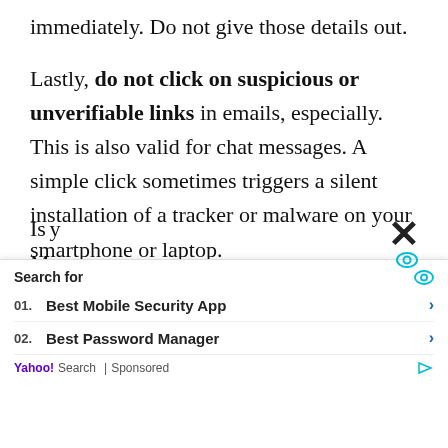immediately. Do not give those details out.
Lastly, do not click on suspicious or unverifiable links in emails, especially. This is also valid for chat messages. A simple click sometimes triggers a silent installation of a tracker or malware on your smartphone or laptop.
Don't forget these security tips. Violate any of them, and you are placing yourself at risk
Is My phone that
[Figure (screenshot): Yahoo Search sponsored ad overlay with close X button, eye icon, Search for label, two ad items: 01. Best Mobile Security App and 02. Best Password Manager, with Yahoo! Search | Sponsored footer]